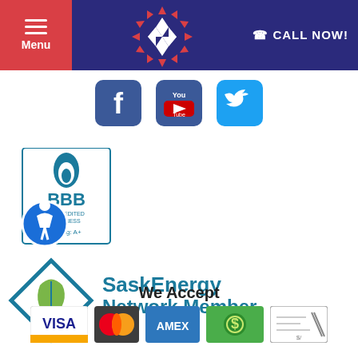[Figure (screenshot): Website header bar with red hamburger Menu button on left, white snowflake/sun logo in center on dark blue background, and CALL NOW! text with phone icon on right]
[Figure (infographic): Social media icons row: Facebook, YouTube, Twitter rounded square blue icons]
[Figure (logo): BBB Better Business Bureau accredited business logo with A+ rating, overlapped by accessibility icon circle]
[Figure (logo): SaskEnergy Network Member logo with teal diamond leaf icon and teal bold text]
We Accept
[Figure (infographic): Payment method icons: VISA, MasterCard, AMEX, Cash, Check/Money Order]